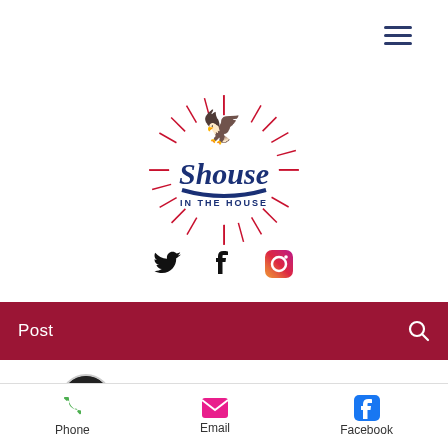[Figure (logo): Shouse In The House logo with eagle and sunburst rays in red and blue]
[Figure (infographic): Social media icons: Twitter bird, Facebook f, Instagram camera]
Post
Literally Heather  Dec 31, 2020  •  9 min
Donald Trump lost: get
Phone  Email  Facebook